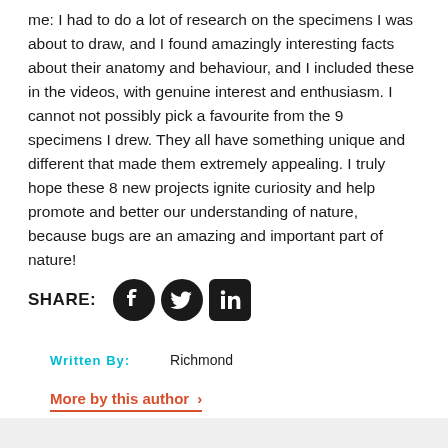me: I had to do a lot of research on the specimens I was about to draw, and I found amazingly interesting facts about their anatomy and behaviour, and I included these in the videos, with genuine interest and enthusiasm. I cannot not possibly pick a favourite from the 9 specimens I drew. They all have something unique and different that made them extremely appealing. I truly hope these 8 new projects ignite curiosity and help promote and better our understanding of nature, because bugs are an amazing and important part of nature!
SHARE:
[Figure (other): Social media share icons: Facebook, Twitter, LinkedIn]
Written By:   Richmond
More by this author >